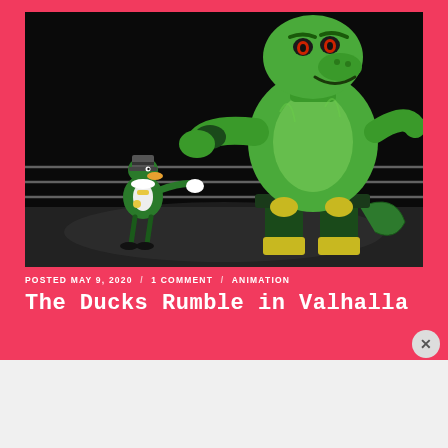[Figure (illustration): Animated cartoon scene: a small duck character wearing a green jacket and top hat facing a huge green muscular reptile/monster character in a boxing ring with ropes visible in background]
POSTED MAY 9, 2020 / 1 COMMENT / ANIMATION
The Ducks Rumble in Valhalla
Advertisements
[Figure (screenshot): DuckDuckGo advertisement banner: orange left side with text 'Search, browse, and email with more privacy. All in One Free App' and dark right side with DuckDuckGo logo and name]